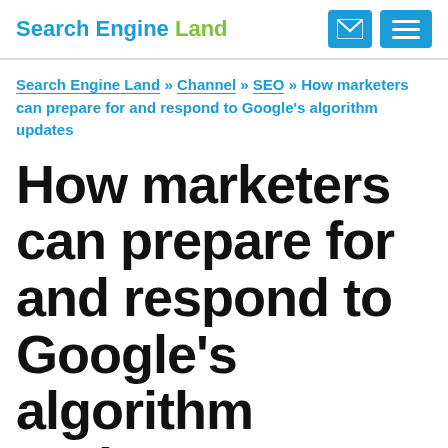Search Engine Land
Search Engine Land » Channel » SEO » How marketers can prepare for and respond to Google's algorithm updates
How marketers can prepare for and respond to Google's algorithm updates
Google updates its algorithms all the time, which leaves many marketers